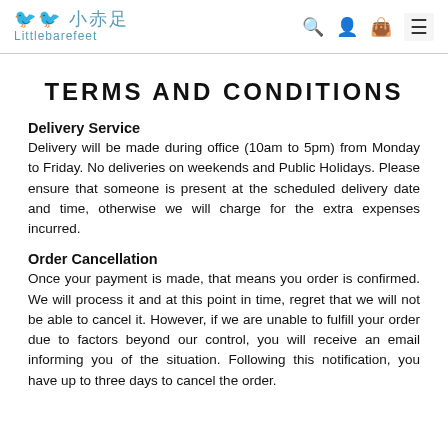小赤足 Littlebarefeet
TERMS AND CONDITIONS
Delivery Service
Delivery will be made during office (10am to 5pm) from Monday to Friday. No deliveries on weekends and Public Holidays. Please ensure that someone is present at the scheduled delivery date and time, otherwise we will charge for the extra expenses incurred.
Order Cancellation
Once your payment is made, that means you order is confirmed. We will process it and at this point in time, regret that we will not be able to cancel it. However, if we are unable to fulfill your order due to factors beyond our control, you will receive an email informing you of the situation. Following this notification, you have up to three days to cancel the order.